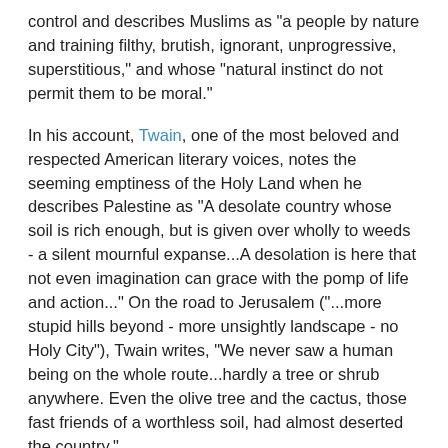control and describes Muslims as "a people by nature and training filthy, brutish, ignorant, unprogressive, superstitious," and whose "natural instinct do not permit them to be moral."
In his account, Twain, one of the most beloved and respected American literary voices, notes the seeming emptiness of the Holy Land when he describes Palestine as "A desolate country whose soil is rich enough, but is given over wholly to weeds - a silent mournful expanse...A desolation is here that not even imagination can grace with the pomp of life and action..." On the road to Jerusalem ("...more stupid hills beyond - more unsightly landscape - no Holy City"), Twain writes, "We never saw a human being on the whole route...hardly a tree or shrub anywhere. Even the olive tree and the cactus, those fast friends of a worthless soil, had almost deserted the country."
He also decries the environment as "monotonous and uninviting," "desolate and unlovely," and states that
"Of all the lands there are for dismal scenery, I think Palestine must be the prince. The hills are